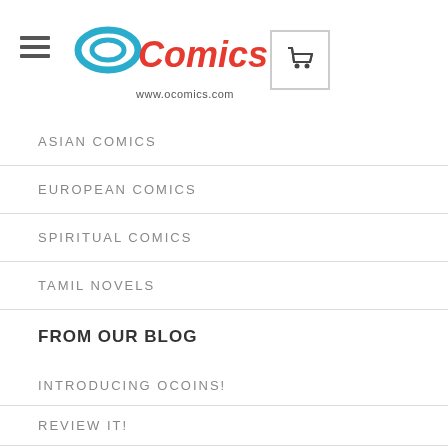[Figure (logo): OComics logo with blue O shape and red Comics text, www.ocomics.com below]
ASIAN COMICS
EUROPEAN COMICS
SPIRITUAL COMICS
TAMIL NOVELS
FROM OUR BLOG
INTRODUCING OCOINS!
REVIEW IT!
A STAR IN THE NIGHT SKY
THANKSGIVING SALE OPEN NOW!